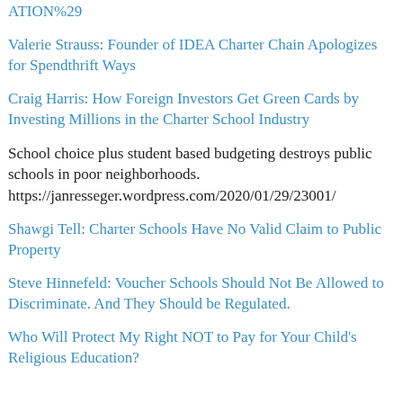ATION%29
Valerie Strauss: Founder of IDEA Charter Chain Apologizes for Spendthrift Ways
Craig Harris: How Foreign Investors Get Green Cards by Investing Millions in the Charter School Industry
School choice plus student based budgeting destroys public schools in poor neighborhoods. https://janresseger.wordpress.com/2020/01/29/23001/
Shawgi Tell: Charter Schools Have No Valid Claim to Public Property
Steve Hinnefeld: Voucher Schools Should Not Be Allowed to Discriminate. And They Should be Regulated.
Who Will Protect My Right NOT to Pay for Your Child's Religious Education?